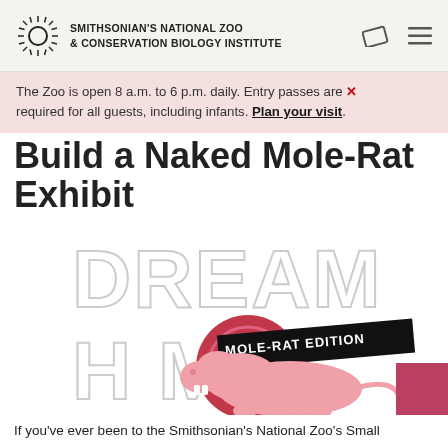SMITHSONIAN'S NATIONAL ZOO & CONSERVATION BIOLOGY INSTITUTE
The Zoo is open 8 a.m. to 6 p.m. daily. Entry passes are required for all guests, including infants. Plan your visit.
Build a Naked Mole-Rat Exhibit
[Figure (illustration): Dream Home Mole-Rat Edition graphic with a pink naked mole-rat illustration and a red house/home icon. Large outlined text reads DREAM HOME with MOLE-RAT EDITION in a black banner.]
If you've ever been to the Smithsonian's National Zoo's Small